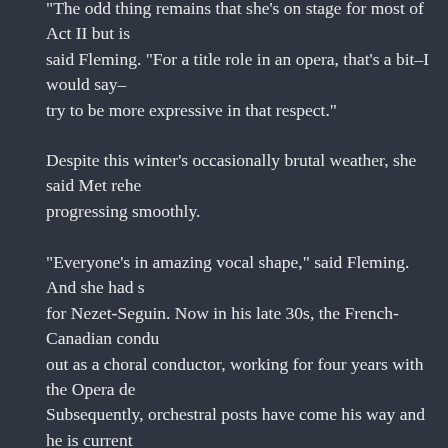The odd thing remains that she's on stage for most of Act II but is said Fleming. "For a title role in an opera, that's a bit–I would say– try to be more expressive in that respect."
Despite this winter's occasionally brutal weather, she said Met rehearsals were progressing smoothly.
"Everyone's in amazing vocal shape," said Fleming. And she had special praise for Nezet-Seguin. Now in his late 30s, the French-Canadian conductor started out as a choral conductor, working for four years with the Opera de Montreal. Subsequently, orchestral posts have come his way and he is currently music director of the Philadelphia Orchestra as well as Montreal's Orchestre Metropolitain and the Rotterdam Philharmonic.
"He's doing an amazing job with this opera," said Fleming. "He's really brought a level of vitality to it and he really understands singers and voices well or better than anybody I've worked with. He really gets it; he's involved with it."